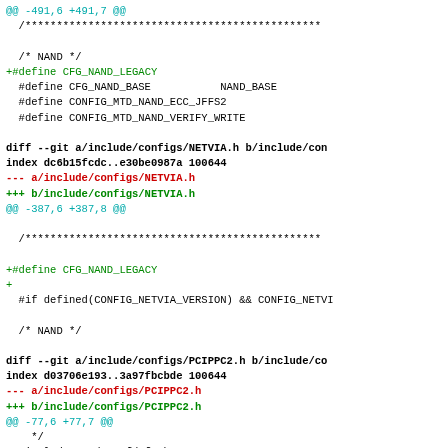@@ -491,6 +491,7 @@
 /***********************************************

 /* NAND */
 +#define CFG_NAND_LEGACY
  #define CFG_NAND_BASE           NAND_BASE
  #define CONFIG_MTD_NAND_ECC_JFFS2
  #define CONFIG_MTD_NAND_VERIFY_WRITE

diff --git a/include/configs/NETVIA.h b/include/con
index dc6b15fcdc..e30be0987a 100644
--- a/include/configs/NETVIA.h
+++ b/include/configs/NETVIA.h
@@ -387,6 +387,8 @@

 /***********************************************

+#define CFG_NAND_LEGACY
+
 #if defined(CONFIG_NETVIA_VERSION) && CONFIG_NETVI

 /* NAND */

diff --git a/include/configs/PCIPPC2.h b/include/co
index d03706e193..3a97fbcbde 100644
--- a/include/configs/PCIPPC2.h
+++ b/include/configs/PCIPPC2.h
@@ -77,6 +77,7 @@
   */
 #include <cmd_confdefs.h>